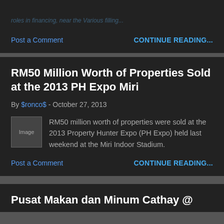Post a Comment    CONTINUE READING...
RM50 Million Worth of Properties Sold at the 2013 PH Expo Miri
By $ronco$ - October 27, 2013
[Figure (photo): Thumbnail image placeholder for article]
RM50 million worth of properties were sold at the 2013 Property Hunter Expo (PH Expo) held last weekend at the Miri Indoor Stadium.
Post a Comment    CONTINUE READING...
Pusat Makan dan Minum Cathay @